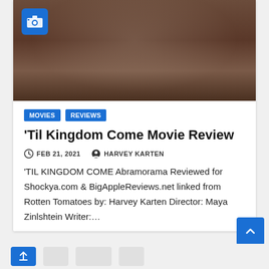[Figure (photo): A group of people in a church setting with arms raised around a large cross, wearing dark maroon choir-like attire, with a camera badge icon in the top left corner]
MOVIES
REVIEWS
‘Til Kingdom Come Movie Review
FEB 21, 2021   HARVEY KARTEN
‘TIL KINGDOM COME Abramorama Reviewed for Shockya.com & BigAppleReviews.net linked from Rotten Tomatoes by: Harvey Karten Director: Maya Zinlshtein Writer:...